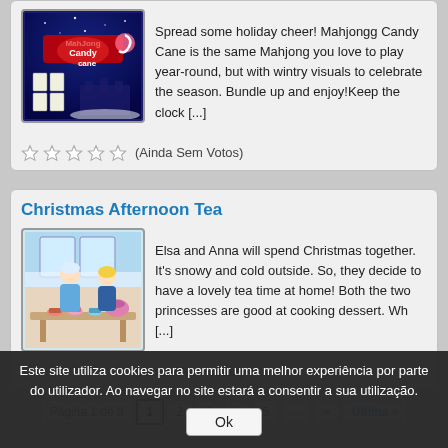[Figure (screenshot): MahJong Candy Cane game thumbnail - dark blue background with holiday themed mahjong game art]
Spread some holiday cheer! Mahjongg Candy Cane is the same Mahjong you love to play year-round, but with wintry visuals to celebrate the season. Bundle up and enjoy!Keep the clock [...]
(Ainda Sem Votos)
Christmas Afternoon Tea
[Figure (screenshot): Christmas Afternoon Tea game thumbnail - showing Elsa and Anna characters at a tea party with desserts]
Elsa and Anna will spend Christmas together. It's snowy and cold outside. So, they decide to have a lovely tea time at home! Both the two princesses are good at cooking dessert. Wh [...]
(Ainda Sem Votos)
Página 1 de 8  1  2  3  4  5  ...  »  Última »
Este site utiliza cookies para permitir uma melhor experiência por parte do utilizador. Ao navegar no site estará a consentir a sua utilização.